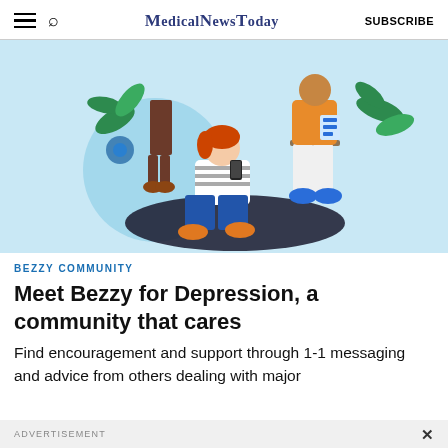MedicalNewsToday  SUBSCRIBE
[Figure (illustration): Colorful illustration of people in a supportive community setting against a light blue background. A young woman with red hair sits on the ground holding a phone, wearing a striped shirt and jeans. Behind her stand two other figures amid green leaves and blue flowers.]
BEZZY COMMUNITY
Meet Bezzy for Depression, a community that cares
Find encouragement and support through 1-1 messaging and advice from others dealing with major
ADVERTISEMENT